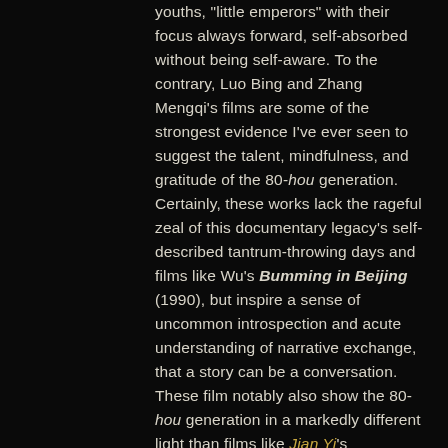youths, "little emperors" with their focus always forward, self-absorbed without being self-aware. To the contrary, Luo Bing and Zhang Mengqi's films are some of the strongest evidence I've ever seen to suggest the talent, mindfulness, and gratitude of the 80-hou generation. Certainly, these works lack the rageful zeal of this documentary legacy's self-described tantrum-throwing days and films like Wu's Bumming in Beijing (1990), but inspire a sense of uncommon introspection and acute understanding of narrative exchange, that a story can be a conversation. These film notably also show the 80-hou generation in a markedly different light than films like Jian Yi's sometimes absurdist, reality-TV-centered documentary Super, Girls! (Jian